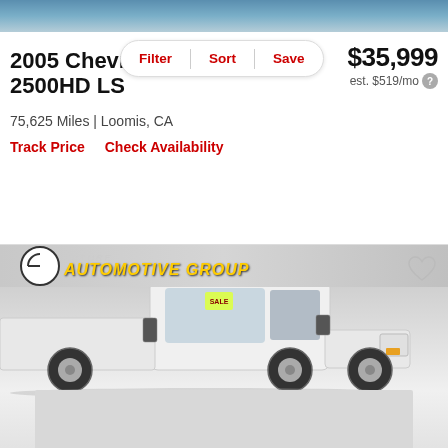[Figure (screenshot): Top portion showing blue sky background]
2005 Chevrolet 2500HD LS
$35,999
est. $519/mo
75,625 Miles | Loomis, CA
Track Price    Check Availability
[Figure (photo): Photo of a white 2005 Chevrolet Silverado 2500HD LS truck at a Future Automotive Group dealership]